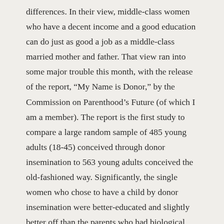differences. In their view, middle-class women who have a decent income and a good education can do just as good a job as a middle-class married mother and father. That view ran into some major trouble this month, with the release of the report, “My Name is Donor,” by the Commission on Parenthood’s Future (of which I am a member). The report is the first study to compare a large random sample of 485 young adults (18-45) conceived through donor insemination to 563 young adults conceived the old-fashioned way. Significantly, the single women who chose to have a child by donor insemination were better-educated and slightly better off than the parents who had biological children together. So the study’s results cannot be dismissed on the grounds that affluent marrieds were being compared to poor single mothers. The study, which was co-authored by Elizabeth Marquardt, Norval Glenn and Karen Clark, paints a troubling portrait of the children conceived by single mothers who